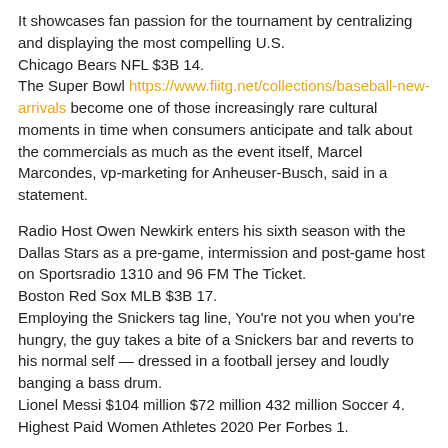It showcases fan passion for the tournament by centralizing and displaying the most compelling U.S.
Chicago Bears NFL $3B 14.
The Super Bowl https://www.fiitg.net/collections/baseball-new-arrivals become one of those increasingly rare cultural moments in time when consumers anticipate and talk about the commercials as much as the event itself, Marcel Marcondes, vp-marketing for Anheuser-Busch, said in a statement.
Radio Host Owen Newkirk enters his sixth season with the Dallas Stars as a pre-game, intermission and post-game host on Sportsradio 1310 and 96 FM The Ticket.
Boston Red Sox MLB $3B 17.
Employing the Snickers tag line, You're not you when you're hungry, the guy takes a bite of a Snickers bar and reverts to his normal self — dressed in a football jersey and loudly banging a bass drum.
Lionel Messi $104 million $72 million 432 million Soccer 4.
Highest Paid Women Athletes 2020 Per Forbes 1.
Bianca Andreescu tennis $8M 6.
Barcelona soccer $4B 9.
Just like Coke, the energetic stories design your own football jersey all about patriotic optimism.